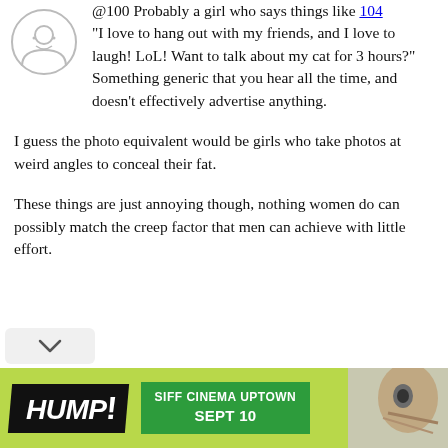@100 Probably a girl who says things like "I love to hang out with my friends, and I love to laugh! LoL! Want to talk about my cat for 3 hours?" Something generic that you hear all the time, and doesn't effectively advertise anything.
I guess the photo equivalent would be girls who take photos at weird angles to conceal their fat.
These things are just annoying though, nothing women do can possibly match the creep factor that men can achieve with little effort.
[Figure (other): Advertisement banner for HUMP! event at SIFF Cinema Uptown, Sept 10, with green background and partial face photo on the right]